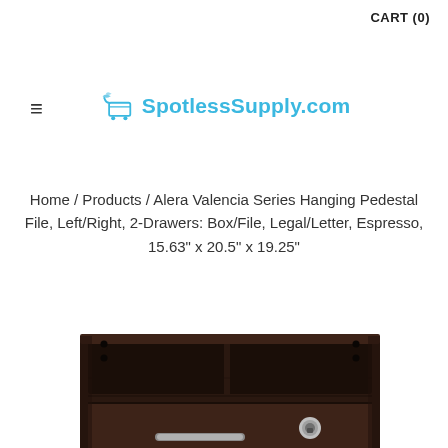CART (0)
≡
[Figure (logo): SpotlessSupply.com logo with shopping cart icon in blue]
Home / Products / Alera Valencia Series Hanging Pedestal File, Left/Right, 2-Drawers: Box/File, Legal/Letter, Espresso, 15.63" x 20.5" x 19.25"
[Figure (photo): Dark espresso wood hanging pedestal file cabinet with two drawers, a lock visible on the lower drawer, and metal handle, shown from a slightly elevated front angle]